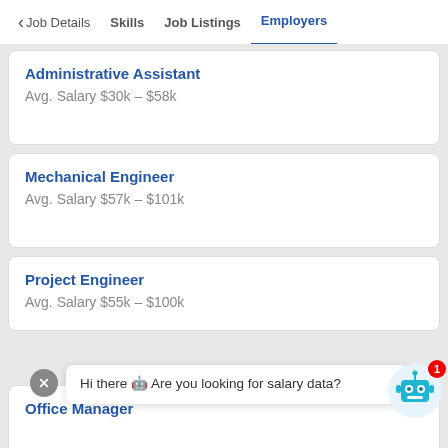< Job Details  Skills  Job Listings  Employers
Administrative Assistant
Avg. Salary $30k – $58k
Mechanical Engineer
Avg. Salary $57k – $101k
Project Engineer
Avg. Salary $55k – $100k
Hi there 🤖 Are you looking for salary data?
Office Manager